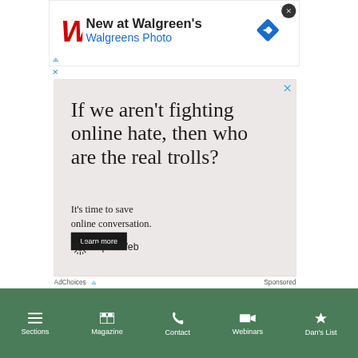[Figure (screenshot): Walgreens advertisement banner showing Walgreens logo, 'New at Walgreen's' headline, 'Walgreens Photo' subtext in blue, and a blue navigation arrow icon. Has a close (X) button in top right corner.]
[Figure (screenshot): OpenWeb advertisement with text 'If we aren't fighting online hate, then who are the real trolls?' in large serif font, followed by 'It's time to save online conversation.' and a 'Learn more' black button. OpenWeb logo at bottom left. Close X in top right corner.]
AdChoices   Sponsored
[Figure (screenshot): Green navigation bar at the bottom with five items: Sections (hamburger icon), Magazine (grid icon), Contact (phone icon), Webinars (video camera icon), Dan's List (trophy icon)]